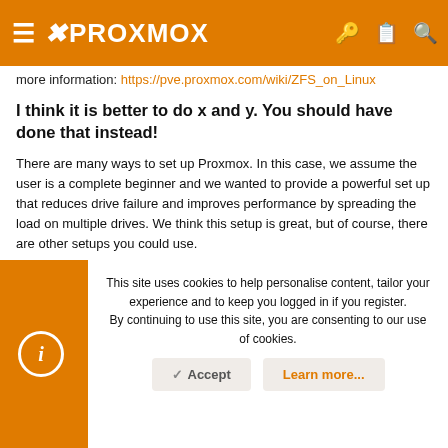≡ ✕PROXMOX
more information: https://pve.proxmox.com/wiki/ZFS_on_Linux
I think it is better to do x and y. You should have done that instead!
There are many ways to set up Proxmox. In this case, we assume the user is a complete beginner and we wanted to provide a powerful set up that reduces drive failure and improves performance by spreading the load on multiple drives. We think this setup is great, but of course, there are other setups you could use.
This site uses cookies to help personalise content, tailor your experience and to keep you logged in if you register. By continuing to use this site, you are consenting to our use of cookies.